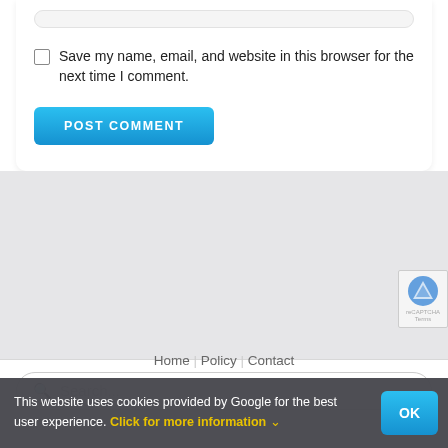Save my name, email, and website in this browser for the next time I comment.
POST COMMENT
Search...
This website uses cookies provided by Google for the best user experience. Click for more information
Home | Policy | Contact
OK